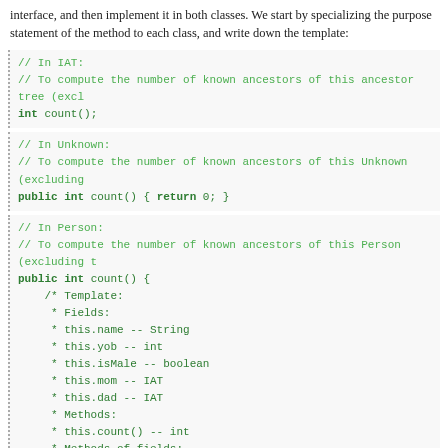interface, and then implement it in both classes. We start by specializing the purpose statement of the method to each class, and write down the template:
[Figure (screenshot): Code block showing Java interface and class method stubs with template comment. Contains three sections: IAT interface with int count(); method, Unknown class with public int count() { return 0; }, and Person class with public int count() { containing a template comment listing fields (this.name -- String, this.yob -- int, this.isMale -- boolean, this.mom -- IAT, this.dad -- IAT), methods (this.count() -- int), and methods of fields (this.mom.count() -- int, this.dad.count() -- int).]
Of all the items in our template, only the last two seem helpful for this method.